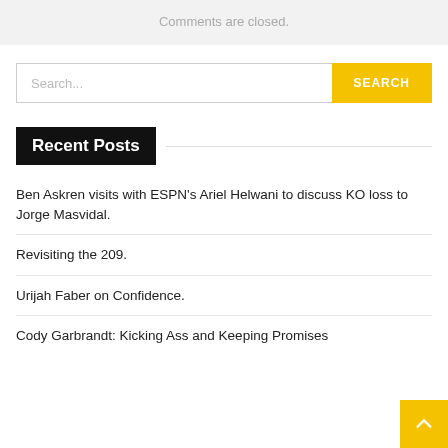Comments are closed.
Search...
Recent Posts
Ben Askren visits with ESPN's Ariel Helwani to discuss KO loss to Jorge Masvidal.
Revisiting the 209.
Urijah Faber on Confidence.
Cody Garbrandt: Kicking Ass and Keeping Promises